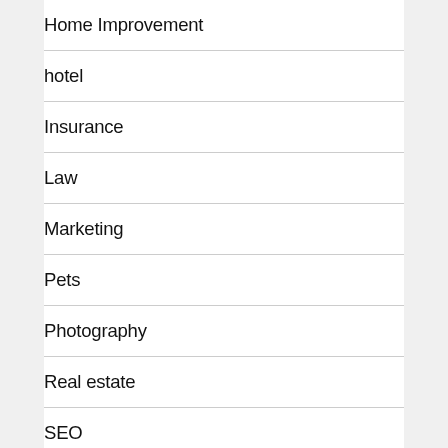Home Improvement
hotel
Insurance
Law
Marketing
Pets
Photography
Real estate
SEO
Shopping